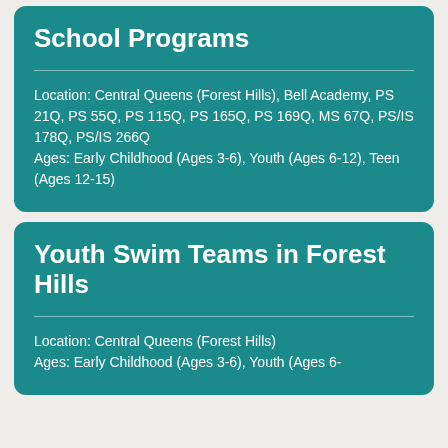School Programs
Location: Central Queens (Forest Hills), Bell Academy, PS 21Q, PS 55Q, PS 115Q, PS 165Q, PS 169Q, MS 67Q, PS/IS 178Q, PS/IS 266Q
Ages: Early Childhood (Ages 3-6), Youth (Ages 6-12), Teen (Ages 12-15)
Youth Swim Teams in Forest Hills
Location: Central Queens (Forest Hills)
Ages: Early Childhood (Ages 3-6), Youth (Ages 6-